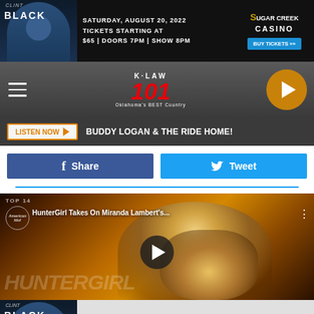[Figure (screenshot): Advertisement banner for Clint Black at Sugar Creek Casino. Saturday, August 20, 2022. Tickets starting at $65 | Doors 7PM | Show 8PM. Buy Tickets button.]
[Figure (screenshot): K-LAW 101 radio station navigation bar with hamburger menu, logo, and play button]
LISTEN NOW ▶  BUDDY LOGAN & THE RIDE HOME!
[Figure (screenshot): Facebook Share button and Twitter Tweet button]
[Figure (screenshot): YouTube video thumbnail: HunterGirl Takes On Miranda Lambert's... - American Idol TOP 14. Shows woman performing with play button overlay.]
[Figure (screenshot): Advertisement banner for Clint Black at Sugar Creek Casino (bottom repeat). Saturday, August 20, 2022. Tickets starting at $65 | Doors 7PM | Show 8PM.]